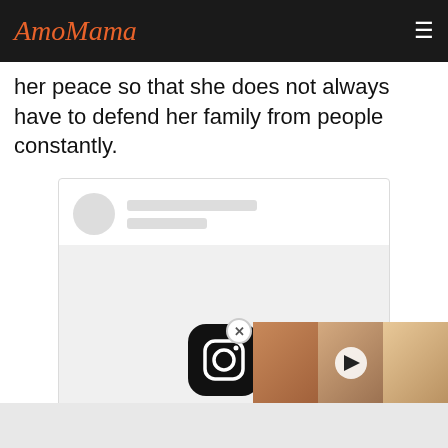AmoMama
her peace so that she does not always have to defend her family from people constantly.
[Figure (screenshot): Embedded Instagram post placeholder with avatar circle, two gray placeholder lines for username, a large gray image area with Instagram icon, and a 'View this post on...' link in blue text.]
[Figure (screenshot): AmoMama video overlay showing three women's faces (Getty Images watermark visible), a play button in the center, and a red caption bar reading 'WHICH FIRST LADY WAS THE WORST AT DECORATING THE WHITE HOUSE FOR']